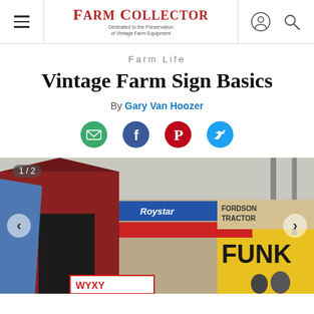Farm Collector — Dedicated to the Preservation of Vintage Farm Equipment
Farm Life
Vintage Farm Sign Basics
By Gary Van Hoozer
[Figure (infographic): Social share icons row: email (green circle), Facebook (blue circle), Pinterest (red circle), Twitter (blue circle)]
[Figure (photo): Slideshow image 1 of 2: A barn with vintage farm signs including Royster and Funk signs visible, two people standing in front of the barn entrance. Navigation arrows on left and right sides, slide counter '1 / 2' in upper left.]